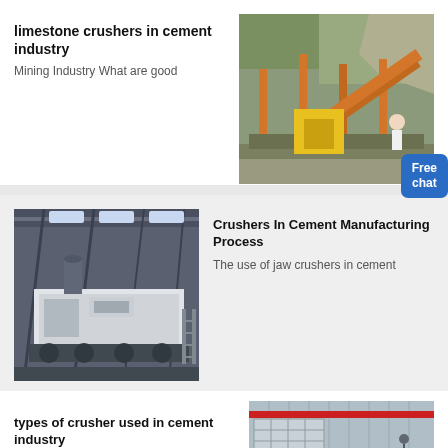limestone crushers in cement industry
Mining Industry What are good
[Figure (photo): Outdoor limestone crusher with orange steel frame structure at a quarry site, with rocky hillside in background. Free chat badge overlaid.]
[Figure (photo): Indoor mobile crusher machine in a large industrial warehouse/factory hall.]
Crushers In Cement Manufacturing Process
The use of jaw crushers in cement
types of crusher used in cement industry
[Figure (photo): Industrial building exterior with red accent stripe and gray corrugated metal wall, partial view.]